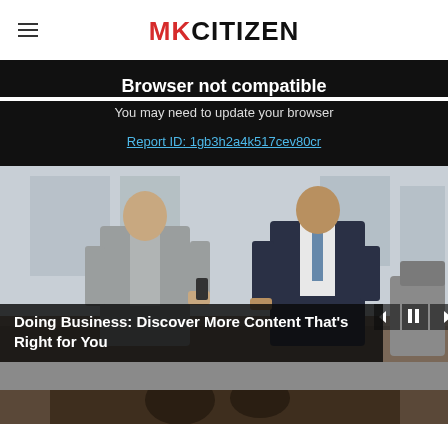MK CITIZEN
Browser not compatible
You may need to update your browser
Report ID: 1gb3h2a4k517cev80cr
[Figure (photo): Two businessmen in suits standing and looking at a smartphone in an office setting]
Doing Business: Discover More Content That's Right for You